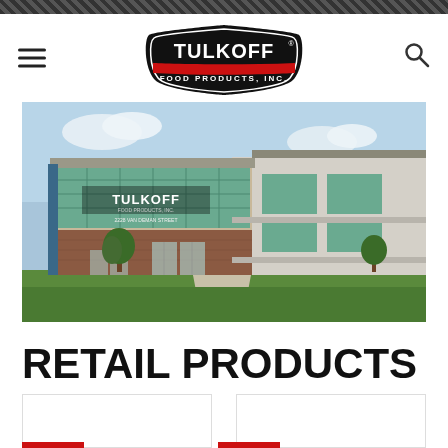Tulkoff Food Products, Inc. — navigation header with logo, hamburger menu, and search icon
[Figure (photo): Exterior photo of the Tulkoff Food Products, Inc. building at 2228 Van Deman Street. Modern two-story commercial facility with glass curtain wall facade, brick lower section, and green lawn in foreground.]
RETAIL PRODUCTS